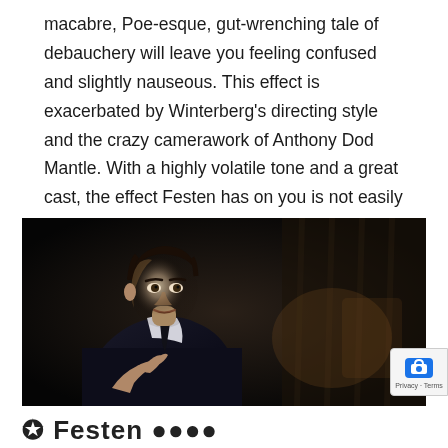macabre, Poe-esque, gut-wrenching tale of debauchery will leave you feeling confused and slightly nauseous. This effect is exacerbated by Winterberg's directing style and the crazy camerawork of Anthony Dod Mantle. With a highly volatile tone and a great cast, the effect Festen has on you is not easily shaken off.
[Figure (photo): A man in a dark suit and tie, photographed in low-key lighting, gesturing with his hand, likely a still from the film Festen.]